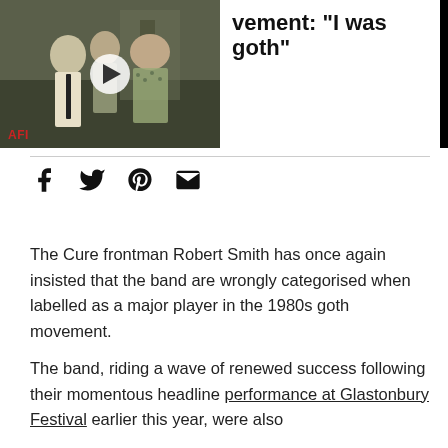[Figure (screenshot): Video thumbnail showing vintage black and white footage of people on a street, with AFI label in bottom left and a play button overlay]
vement: "I was goth"
[Figure (infographic): Social share icons: Facebook, Twitter, Pinterest, Email]
The Cure frontman Robert Smith has once again insisted that the band are wrongly categorised when labelled as a major player in the 1980s goth movement.
The band, riding a wave of renewed success following their momentous headline performance at Glastonbury Festival earlier this year, were also inducted to the Rock and Roll Hall of Fame...